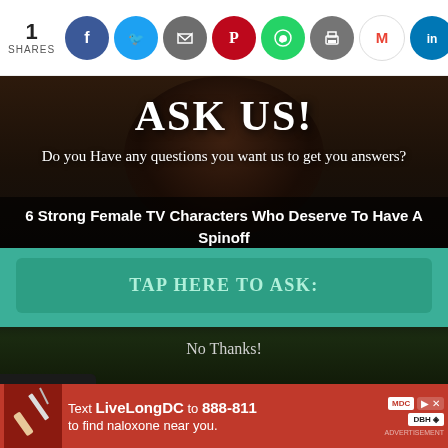1 SHARES
[Figure (infographic): Social share bar with 9 circular icons: Facebook (blue), Twitter (light blue), Email/share (grey), Pinterest (red), WhatsApp (green), Print (grey), Gmail (white), LinkedIn (blue), Google (blue)]
[Figure (photo): Dark photo background with a person visible, overlaid with modal dialog elements]
ASK US!
Do you Have any questions you want us to get you answers?
6 Strong Female TV Characters Who Deserve To Have A Spinoff
[Figure (infographic): Teal/green section with a button labeled TAP HERE TO ASK:]
TAP HERE TO ASK:
No Thanks!
[Figure (infographic): Red advertisement banner: Text LiveLongDC to 888-811 to find naloxone near you. With DC and DBH logos.]
Text LiveLongDC to 888-811 to find naloxone near you.